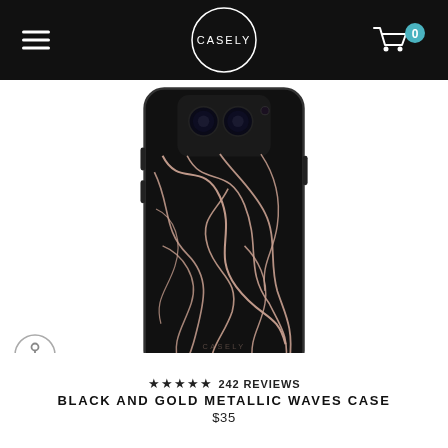CASELY
[Figure (photo): A black phone case with rose gold/pink metallic wave line patterns on display, shown from the back. The case has a dual camera cutout at the top. The Casely logo is faintly visible at the bottom of the case.]
★★★★★ 242 REVIEWS
BLACK AND GOLD METALLIC WAVES CASE
$35